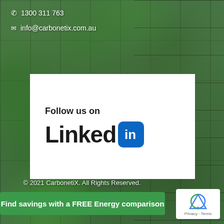1300 311 763
info@carbonetix.com.au
[Figure (logo): LinkedIn logo with text 'Follow us on' above it, on a white card background]
© 2021 CarbonetiX. All Rights Reserved.
Find savings with a FREE Energy comparison
[Figure (logo): Google reCAPTCHA badge with Privacy and Terms links]